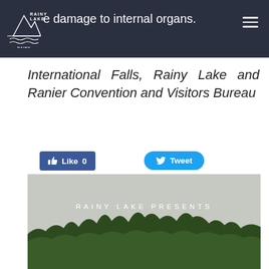cause damage to internal organs.
International Falls, Rainy Lake and Ranier Convention and Visitors Bureau
[Figure (other): Facebook Like button with count 0]
[Figure (other): Twitter Tweet button]
Comments
[Figure (photo): Landscape photo with grey sky and tree line silhouette at bottom, overlaid with white spaced text reading 'RAINY LAKE PRESENTS']